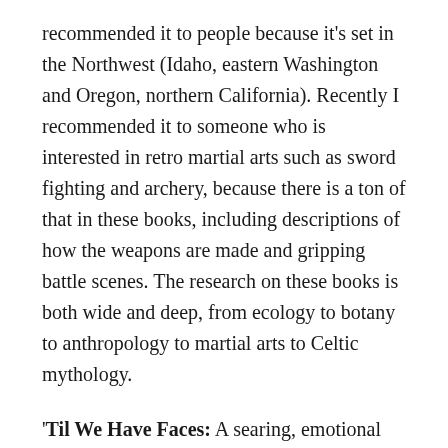recommended it to people because it's set in the Northwest (Idaho, eastern Washington and Oregon, northern California). Recently I recommended it to someone who is interested in retro martial arts such as sword fighting and archery, because there is a ton of that in these books, including descriptions of how the weapons are made and gripping battle scenes. The research on these books is both wide and deep, from ecology to botany to anthropology to martial arts to Celtic mythology.
'Til We Have Faces: A searing, emotional novel about friendship, identity, divided loyalty, and religion. One of C.S. Lewis's less famous works.